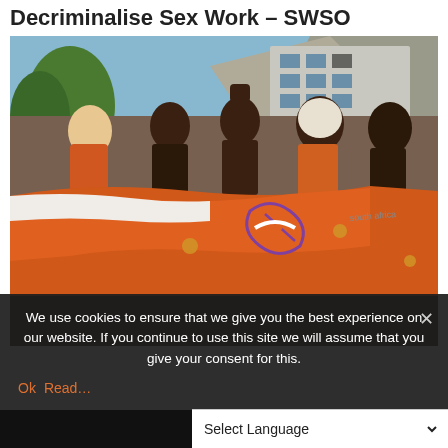Decriminalise Sex Work – SWSO
[Figure (photo): Group of people at a protest/march holding a large orange and white banner with a graphic logo. People are smiling and one person has a raised fist. Buildings and a mountain visible in the background.]
We use cookies to ensure that we give you the best experience on our website. If you continue to use this site we will assume that you give your consent for this.
Ok  Read more
Select Language